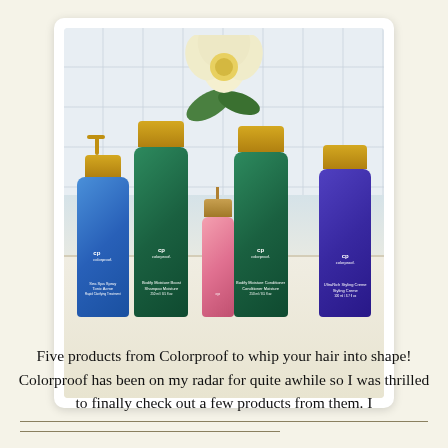[Figure (photo): Five hair care product bottles from Colorproof arranged on a counter with white flowers in the background. From left to right: a blue spray bottle, a tall green bottle, a small pink bottle, another tall green bottle, and a purple bottle. All have gold caps.]
Five products from Colorproof to whip your hair into shape! Colorproof has been on my radar for quite awhile so I was thrilled to finally check out a few products from them. I